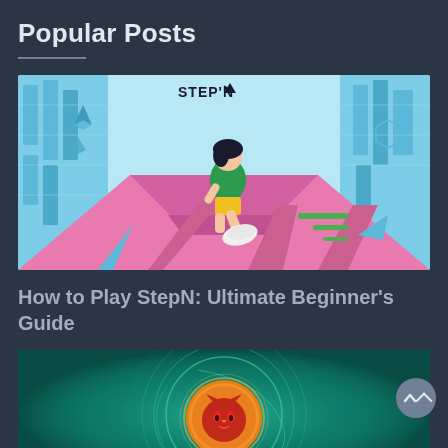Popular Posts
[Figure (illustration): STEPN game illustration showing an anime-style character running through a futuristic city corridor with pink geometric floor, teal buildings, and blockchain crypto logos (Ethereum diamond, Chainlink, Polygon). The character wears green top and yellow shorts with white sneaker visible. STEPN logo at top.]
How to Play StepN: Ultimate Beginner’s Guide
[Figure (illustration): Teal/green glowing circular portal or vortex background with an orange coin in the center featuring a red fox/cat face logo. Appears to be a cryptocurrency token promotional image.]